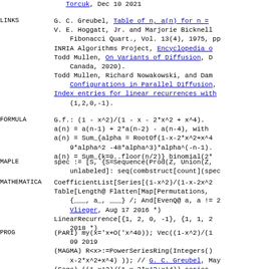Torcuk, Dec 10 2021
LINKS
G. C. Greubel, Table of n, a(n) for n =
V. E. Hoggatt, Jr. and Marjorie Bicknell, Fibonacci Quart., Vol. 13(4), 1975, pp
INRIA Algorithms Project, Encyclopedia o
Todd Mullen, On Variants of Diffusion, D Canada, 2020).
Todd Mullen, Richard Nowakowski, and Dan Configurations in Parallel Diffusion,
Index entries for linear recurrences with (1,2,0,-1).
FORMULA
G.f.: (1 - x^2)/(1 - x - 2*x^2 + x^4).
a(n) = a(n-1) + 2*a(n-2) - a(n-4), with
a(n) = Sum_{alpha = RootOf(1-x-2*x^2+x^4 9*alpha^2 -48*alpha^3)*alpha^(-n-1).
a(n) = Sum_{k=0..floor(n/2)} binomial(2*
MAPLE
spec := [S, {S=Sequence(Prod(Z, Union(Z, unlabeled]: seq(combstruct[count](spec
MATHEMATICA
CoefficientList[Series[(1-x^2)/(1-x-2x^2
Table[Length@ Flatten[Map[Permutations, {___, a_, ___} /; And[EvenQ@ a, a != 2 Vlieger, Aug 17 2016 *)
LinearRecurrence[{1, 2, 0, -1}, {1, 1, 2 2018 *)
PROG
(PARI) my(x='x+O('x^40)); Vec((1-x^2)/(1 09 2019
(MAGMA) R<x>:=PowerSeriesRing(Integers() x-2*x^2+x^4) )); // G. C. Greubel, May
(Sage) ((1-x^2)/(1-x-2*x^2+x^4)).series